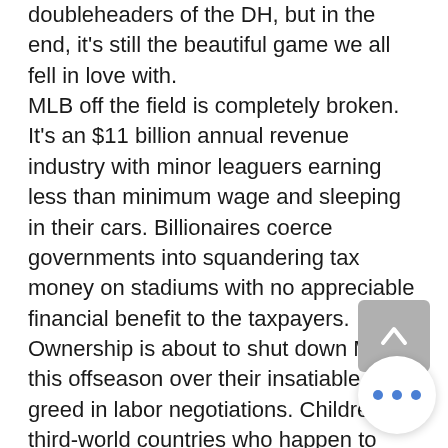doubleheaders of the DH, but in the end, it's still the beautiful game we all fell in love with. MLB off the field is completely broken. It's an $11 billion annual revenue industry with minor leaguers earning less than minimum wage and sleeping in their cars. Billionaires coerce governments into squandering tax money on stadiums with no appreciable financial benefit to the taxpayers. Ownership is about to shut down MLB this offseason over their insatiable greed in labor negotiations. Children in third-world countries who happen to have baseball talent are victims of human trafficking by buscones with MLB's complicity. Baseball is NOT the same thing as. The majesty of the game on the field is